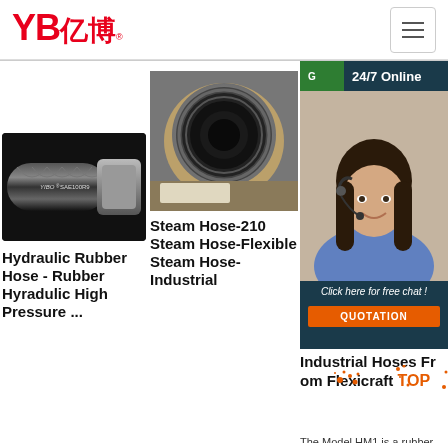[Figure (logo): YB 亿博 logo in red with registered trademark]
[Figure (illustration): Hamburger menu button icon]
[Figure (photo): Hydraulic rubber hose product photo with YIBO SAE100R9 label]
[Figure (photo): Steam hose close-up circular cross-section photo]
[Figure (screenshot): 24/7 Online chat widget with customer service representative photo, Click here for free chat, and QUOTATION button]
Hydraulic Rubber Hose - Rubber Hyradulic High Pressure ...
Steam Hose-210 Steam Hose-Flexible Steam Hose-Industrial
Industrial Hoses From Flexicraft TOP
The Model HM1 is a rubber SAE 100R1AT hydraulic